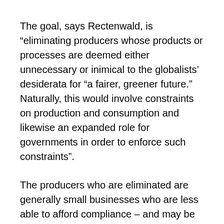The goal, says Rectenwald, is “eliminating producers whose products or processes are deemed either unnecessary or inimical to the globalists’ desiderata for “a fairer, greener future.” Naturally, this would involve constraints on production and consumption and likewise an expanded role for governments in order to enforce such constraints”.
The producers who are eliminated are generally small businesses who are less able to afford compliance – and may be less politically inclined to do so. Government requirements, at the state and local level,  to comply with COVID regulations have exacerbated the elimination trend. Authorities have, says Rectenewald, “seized the opportunity to cull from the economy the underbrush of small and medium-sized